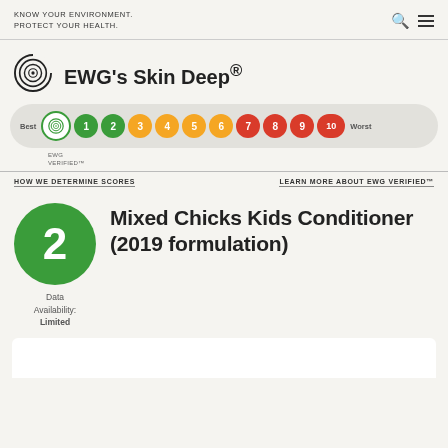KNOW YOUR ENVIRONMENT. PROTECT YOUR HEALTH.
[Figure (logo): EWG's Skin Deep logo - circular spiral E symbol]
EWG's Skin Deep®
[Figure (infographic): EWG score scale from Best to Worst, with EWG VERIFIED badge and numbered circles 1-10 colored green (1-2), orange (3-6), red (7-10)]
HOW WE DETERMINE SCORES
LEARN MORE ABOUT EWG VERIFIED™
[Figure (infographic): Large green circle with number 2 score]
Mixed Chicks Kids Conditioner (2019 formulation)
Data Availability: Limited